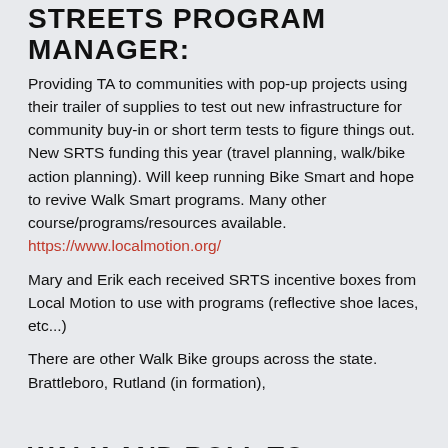STREETS PROGRAM MANAGER:
Providing TA to communities with pop-up projects using their trailer of supplies to test out new infrastructure for community buy-in or short term tests to figure things out. New SRTS funding this year (travel planning, walk/bike action planning). Will keep running Bike Smart and hope to revive Walk Smart programs. Many other course/programs/resources available.
https://www.localmotion.org/
Mary and Erik each received SRTS incentive boxes from Local Motion to use with programs (reflective shoe laces, etc...)
There are other Walk Bike groups across the state. Brattleboro, Rutland (in formation),
WALK AND ROLL TO SCHOOL DURING THE PANDEMIC (ERIK)